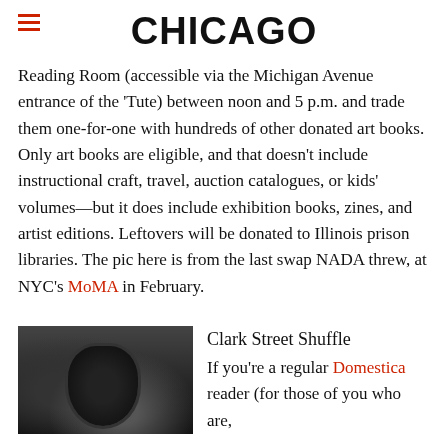CHICAGO
Reading Room (accessible via the Michigan Avenue entrance of the ‘Tute) between noon and 5 p.m. and trade them one-for-one with hundreds of other donated art books. Only art books are eligible, and that doesn’t include instructional craft, travel, auction catalogues, or kids’ volumes—but it does include exhibition books, zines, and artist editions. Leftovers will be donated to Illinois prison libraries. The pic here is from the last swap NADA threw, at NYC’s MoMA in February.
[Figure (photo): Black and white street photograph showing a person with an umbrella on a city street, with buildings in background]
Clark Street Shuffle
If you’re a regular Domestica reader (for those of you who are,